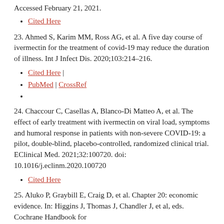Accessed February 21, 2021.
Cited Here
23. Ahmed S, Karim MM, Ross AG, et al. A five day course of ivermectin for the treatment of covid-19 may reduce the duration of illness. Int J Infect Dis. 2020;103:214–216.
Cited Here |
PubMed | CrossRef
24. Chaccour C, Casellas A, Blanco-Di Matteo A, et al. The effect of early treatment with ivermectin on viral load, symptoms and humoral response in patients with non-severe COVID-19: a pilot, double-blind, placebo-controlled, randomized clinical trial. EClinical Med. 2021;32:100720. doi: 10.1016/j.eclinm.2020.100720
Cited Here
25. Aluko P, Graybill E, Craig D, et al. Chapter 20: economic evidence. In: Higgins J, Thomas J, Chandler J, et al, eds. Cochrane Handbook for